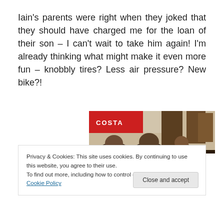Iain's parents were right when they joked that they should have charged me for the loan of their son – I can't wait to take him again! I'm already thinking what might make it even more fun – knobbly tires? Less air pressure? New bike?!
[Figure (photo): A photo showing the interior of a cafe, with people seated and a Costa Coffee sign visible through the window in the background, along with wooden menu boards.]
Privacy & Cookies: This site uses cookies. By continuing to use this website, you agree to their use.
To find out more, including how to control cookies, see here: Cookie Policy